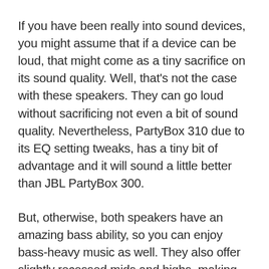If you have been really into sound devices, you might assume that if a device can be loud, that might come as a tiny sacrifice on its sound quality. Well, that's not the case with these speakers. They can go loud without sacrificing not even a bit of sound quality. Nevertheless, PartyBox 310 due to its EQ setting tweaks, has a tiny bit of advantage and it will sound a little better than JBL PartyBox 300.
But, otherwise, both speakers have an amazing bass ability, so you can enjoy bass-heavy music as well. They also offer slightly recessed mids and highs, making them suitable for any kind of music that your friend might prefer, so when it